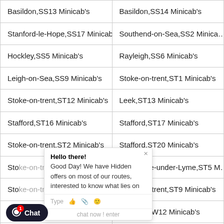| Column 1 | Column 2 |
| --- | --- |
| Basildon,SS13 Minicab's | Basildon,SS14 Minicab's |
| Stanford-le-Hope,SS17 Minicab's | Southend-on-Sea,SS2 Minicab's |
| Hockley,SS5 Minicab's | Rayleigh,SS6 Minicab's |
| Leigh-on-Sea,SS9 Minicab's | Stoke-on-trent,ST1 Minicab's |
| Stoke-on-trent,ST12 Minicab's | Leek,ST13 Minicab's |
| Stafford,ST16 Minicab's | Stafford,ST17 Minicab's |
| Stoke-on-trent,ST2 Minicab's | Stafford,ST20 Minicab's |
| Stoke-on-trent,ST3 Minicab's | Newcastle-under-Lyme,ST5 Minicab's |
| Stoke-on-trent,ST6 Minicab's | Stoke-on-trent,ST9 Minicab's |
| London,SW11 Minicab's | London,SW12 Minicab's |
| London,SW14 Minicab's | London,SW16 Minicab's |
| London,SW19 Minicab's | London,SW1A Minicab's |